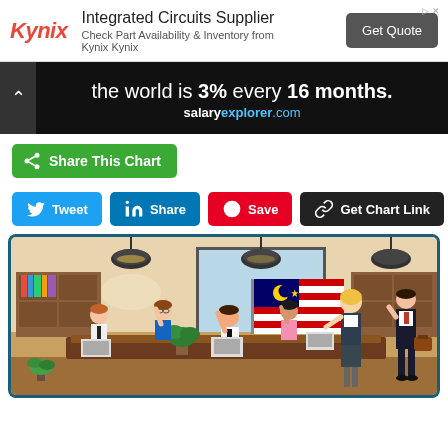[Figure (infographic): Kynix ad banner: Integrated Circuits Supplier - Check Part Availability & Inventory from Kynix Kynix. Get Quote button.]
[Figure (infographic): Salary explorer dark banner: 'the world is 3% every 16 months.' salaryexplorer.com]
Share This Chart
Tweet | Share | Save | Get Chart Link
[Figure (illustration): Office scene with Malaysian flag, multiple cartoon business people sitting and standing around a conference table in an office environment.]